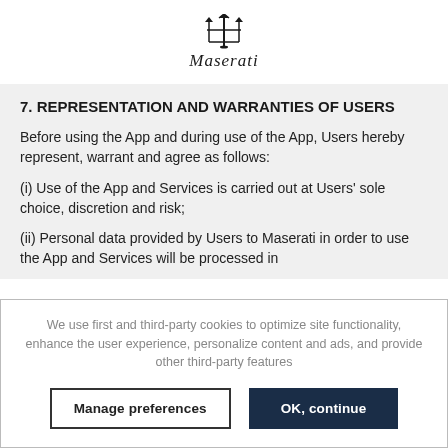[Figure (logo): Maserati trident logo and cursive Maserati wordmark]
7. REPRESENTATION AND WARRANTIES OF USERS
Before using the App and during use of the App, Users hereby represent, warrant and agree as follows:
(i) Use of the App and Services is carried out at Users' sole choice, discretion and risk;
(ii) Personal data provided by Users to Maserati in order to use the App and Services will be processed in
We use first and third-party cookies to optimize site functionality, enhance the user experience, personalize content and ads, and provide other third-party features
Manage preferences | OK, continue